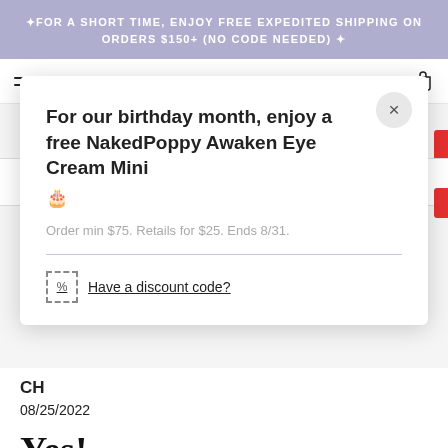✦FOR A SHORT TIME, ENJOY FREE EXPEDITED SHIPPING ON ORDERS $150+ (NO CODE NEEDED) ✦
NAKEDPOPPY
For our birthday month, enjoy a free NakedPoppy Awaken Eye Cream Mini 🎂
Order min $75. Retails for $25. Ends 8/31.
Have a discount code?
CH
08/25/2022
Yes!